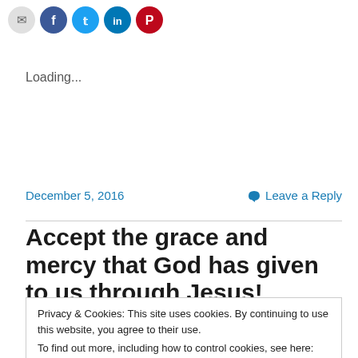[Figure (other): Social share icon buttons: email (gray), Facebook (blue), Twitter (light blue), LinkedIn (blue), Pinterest (red)]
Loading...
December 5, 2016    Leave a Reply
Accept the grace and mercy that God has given to us through Jesus!
Privacy & Cookies: This site uses cookies. By continuing to use this website, you agree to their use.
To find out more, including how to control cookies, see here: Cookie Policy
inhabitants of Jerusalem a spirit of grace and supplication.